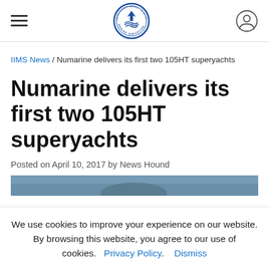International Institute of Marine Surveying logo and navigation
IIMS News / Numarine delivers its first two 105HT superyachts
Numarine delivers its first two 105HT superyachts
Posted on April 10, 2017 by News Hound
[Figure (photo): Partial view of a superyacht at sea, blue-grey tones]
We use cookies to improve your experience on our website. By browsing this website, you agree to our use of cookies.  Privacy Policy.  Dismiss